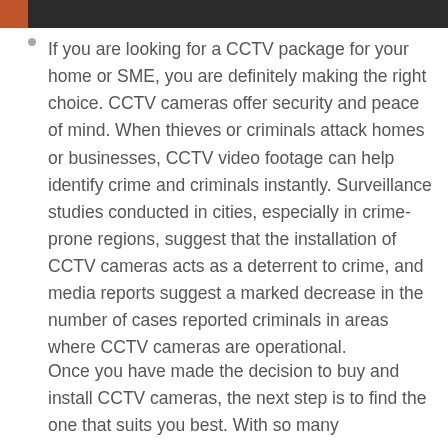If you are looking for a CCTV package for your home or SME, you are definitely making the right choice. CCTV cameras offer security and peace of mind. When thieves or criminals attack homes or businesses, CCTV video footage can help identify crime and criminals instantly. Surveillance studies conducted in cities, especially in crime-prone regions, suggest that the installation of CCTV cameras acts as a deterrent to crime, and media reports suggest a marked decrease in the number of cases reported criminals in areas where CCTV cameras are operational.
Once you have made the decision to buy and install CCTV cameras, the next step is to find the one that suits you best. With so many